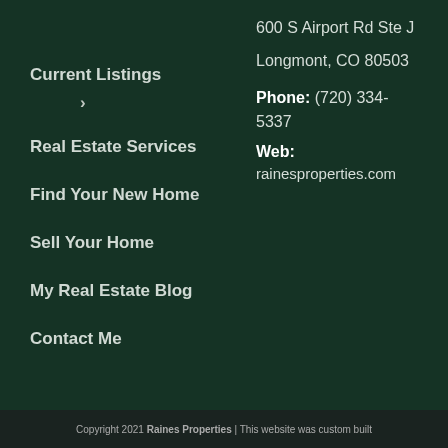Current Listings
>
Real Estate Services
Find Your New Home
Sell Your Home
My Real Estate Blog
Contact Me
600 S Airport Rd Ste J
Longmont, CO 80503
Phone: (720) 334-5337
Web:
rainesproperties.com
[Figure (map): Google Maps screenshot showing area around 600 S Airport Rd, Longmont CO, with pins for CYCLHOPS Bike CANtina, Zendeb, and Compel W visible]
Copyright 2021 Raines Properties | This website was custom built